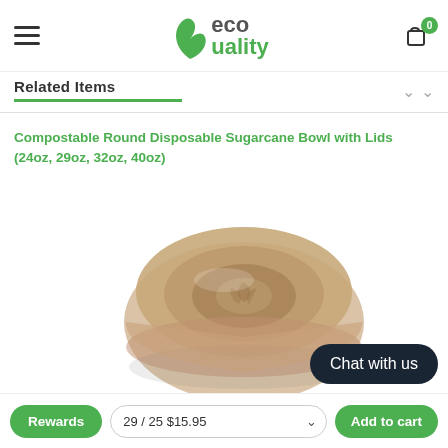eco quality
Related Items
Compostable Round Disposable Sugarcane Bowl with Lids (24oz, 29oz, 32oz, 40oz)
[Figure (photo): Photo of a compostable round sugarcane bowl with a lid, shown from a top-angled view. The bowl is beige/tan in color.]
29 / 25 $15.95
Add to cart
Rewards
Chat with us